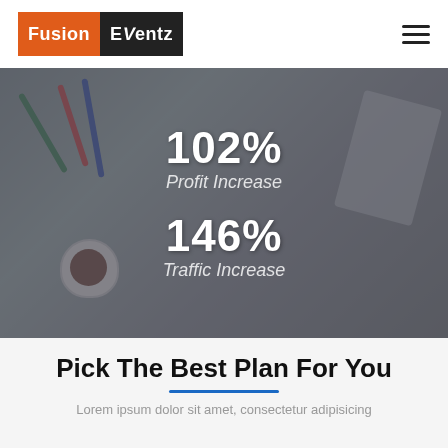[Figure (logo): Fusion Eventz logo with orange background for Fusion and black background for Eventz text]
[Figure (infographic): Hero banner with desk/office background showing 102% Profit Increase and 146% Traffic Increase statistics in white text over dark overlay]
Pick The Best Plan For You
Lorem ipsum dolor sit amet, consectetur adipisicing